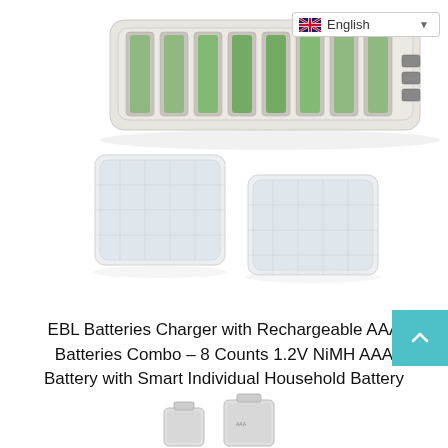[Figure (photo): Battery charger device loaded with green NiMH AAA batteries, shown from top angle. Two clear plastic battery storage cases are displayed below the charger. A language selector dropdown showing 'English' with a UK/US flag is visible in the top right corner.]
EBL Batteries Charger with Rechargeable AAA Batteries Combo – 8 Counts 1.2V NiMH AAA Battery with Smart Individual Household Battery Charger
[Figure (photo): Two AAA rechargeable batteries shown at the bottom of the page, partially cropped.]